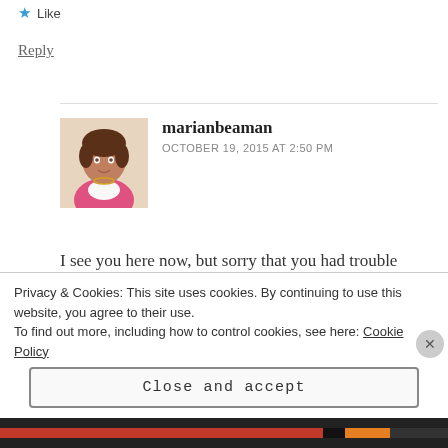★ Like
Reply
marianbeaman
OCTOBER 19, 2015 AT 2:50 PM
[Figure (photo): Avatar photo of marianbeaman - woman in pink jacket]
I see you here now, but sorry that you had trouble posting. Every once in a while I hear of such a problem, often happening on a smartphone. Laptops or other devices don't
Privacy & Cookies: This site uses cookies. By continuing to use this website, you agree to their use.
To find out more, including how to control cookies, see here: Cookie Policy
Close and accept